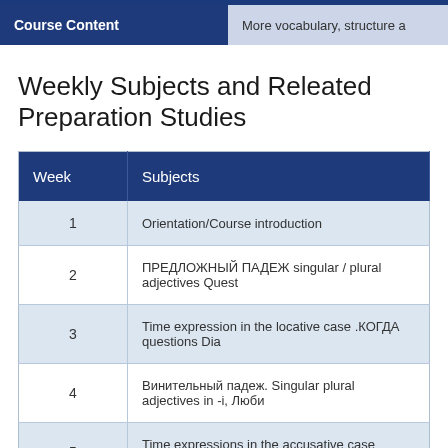| Course Content |  |
| --- | --- |
| Course Content | More vocabulary, structure a... |
Weekly Subjects and Releated Preparation Studies
| Week | Subjects |
| --- | --- |
| 1 | Orientation/Course introduction |
| 2 | ПРЕДЛОЖНЫЙ ПАДЕЖ singular / plural adjectives Quest... |
| 3 | Time expression in the locative case .КОГДА questions Dia... |
| 4 | Винительный падеж. Singular plural adjectives in -i, Люби... |
| 5 | Time expressions in the accusative case НАЗАД,ЧЕРЕЗ р... |
| 6 | Verbs of motion with prefixes Verbs of motion (Пойти/поех... |